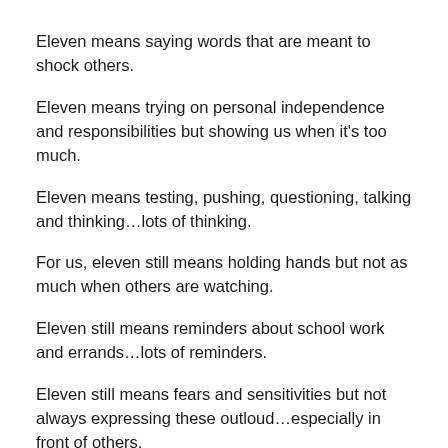Eleven means saying words that are meant to shock others.
Eleven means trying on personal independence and responsibilities but showing us when it's too much.
Eleven means testing, pushing, questioning, talking and thinking…lots of thinking.
For us, eleven still means holding hands but not as much when others are watching.
Eleven still means reminders about school work and errands…lots of reminders.
Eleven still means fears and sensitivities but not always expressing these outloud…especially in front of others.